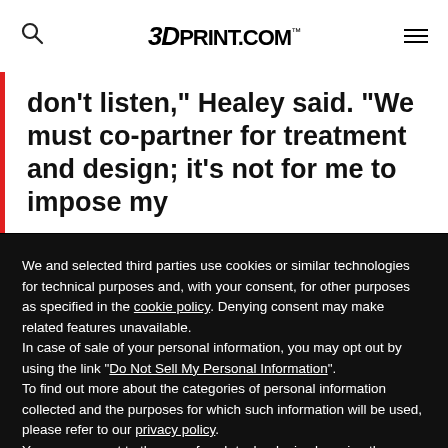3DPRINT.COM™
don't listen," Healey said. "We must co-partner for treatment and design; it's not for me to impose my
We and selected third parties use cookies or similar technologies for technical purposes and, with your consent, for other purposes as specified in the cookie policy. Denying consent may make related features unavailable.
In case of sale of your personal information, you may opt out by using the link "Do Not Sell My Personal Information".
To find out more about the categories of personal information collected and the purposes for which such information will be used, please refer to our privacy policy.
You can consent to the use of such technologies by using the "Accept" button, by scrolling this page, by interacting with any link or button outside of this notice or by continuing to browse otherwise.
Reject
Accept
Learn more and customize